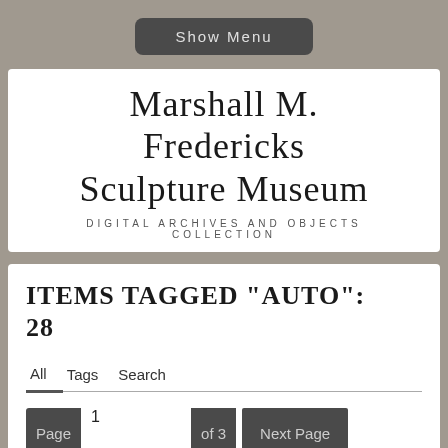Show Menu
Marshall M. Fredericks Sculpture Museum
DIGITAL ARCHIVES AND OBJECTS COLLECTION
ITEMS TAGGED "AUTO": 28
All   Tags   Search
Page 1 of 3   Next Page